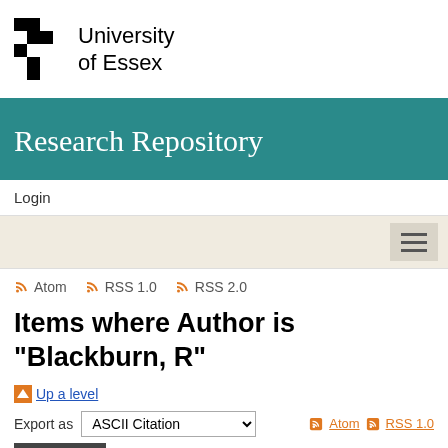[Figure (logo): University of Essex logo with black and white checkerboard pattern and university name]
Research Repository
Login
Atom  RSS 1.0  RSS 2.0
Items where Author is "Blackburn, R"
Up a level
Export as  ASCII Citation
Atom  RSS 1.0  RSS 2.0
Export